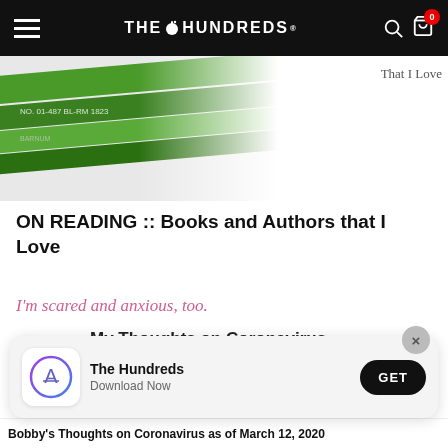THE HUNDREDS
[Figure (photo): Close-up photo of green pencils/tubes with text markings]
That I Love
ON READING :: Books and Authors that I Love
I'm scared and anxious, too.
My Thoughts on Coronavirus
as of March 12, 2020
[Figure (screenshot): App install banner for The Hundreds app with App Store icon, 'Download Now' subtitle, and GET button]
Bobby's Thoughts on Coronavirus as of March 12, 2020